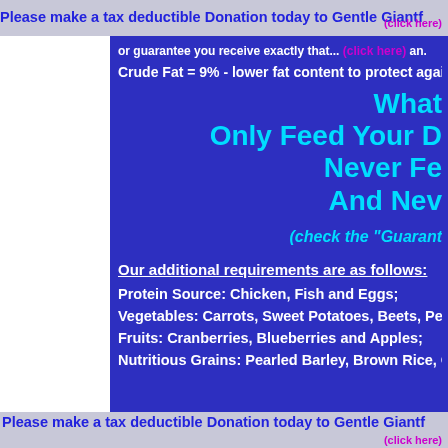Please make a tax deductible Donation today to Gentle Giant (click here)
or guarantee you receive exactly that... an.
Crude Fat = 9% - lower fat content to protect again
What
Only Feed Your D
Never Fe
And Nev
(check the "Guarant
Our additional requirements are as follows:
Protein Source: Chicken, Fish and Eggs;
Vegetables: Carrots, Sweet Potatoes, Beets, Peas
Fruits: Cranberries, Blueberries and Apples;
Nutritious Grains: Pearled Barley, Brown Rice, Oa
Please make a tax deductible Donation today to Gentle Giant (click here)